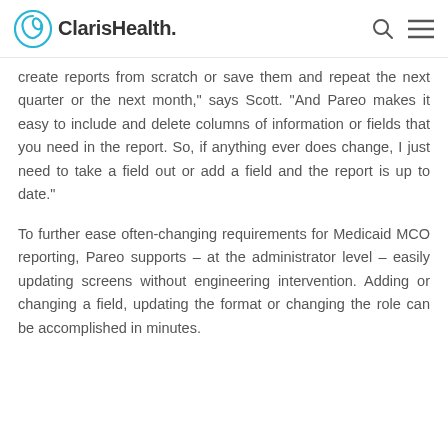ClarisHealth.
create reports from scratch or save them and repeat the next quarter or the next month,” says Scott. “And Pareo makes it easy to include and delete columns of information or fields that you need in the report. So, if anything ever does change, I just need to take a field out or add a field and the report is up to date.”
To further ease often-changing requirements for Medicaid MCO reporting, Pareo supports – at the administrator level – easily updating screens without engineering intervention. Adding or changing a field, updating the format or changing the role can be accomplished in minutes.